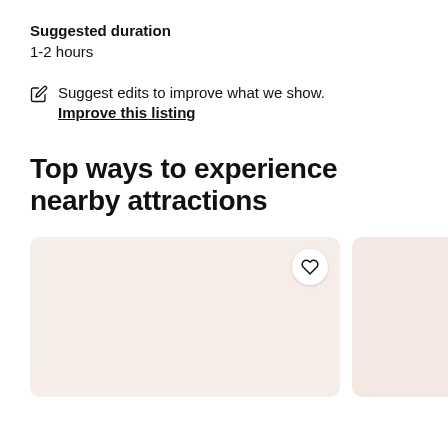Suggested duration
1-2 hours
Suggest edits to improve what we show.
Improve this listing
Top ways to experience nearby attractions
[Figure (illustration): Two card placeholders side by side with a heart/save button on the first card, showing light pinkish-beige background colors]